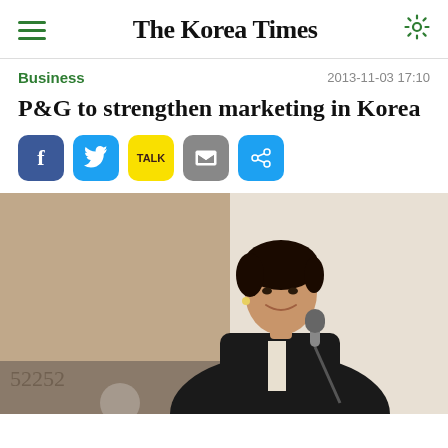The Korea Times
Business
2013-11-03 17:10
P&G to strengthen marketing in Korea
[Figure (other): Social media share buttons: Facebook, Twitter, KakaoTalk, Email, Copy link]
[Figure (photo): A woman in a black blazer speaking at a podium with a microphone, at what appears to be a formal press conference or business event. She has short dark hair and is smiling. The background shows decorative panels and a light-colored wall.]